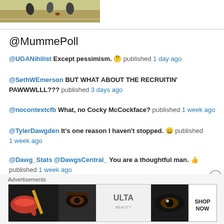[Figure (photo): Partial sports photo showing football/soccer players on a field]
@MummePoll
@UGANihilist Except pessimism. 🤔 published 1 day ago
@SethWEmerson BUT WHAT ABOUT THE RECRUITIN' PAWWWLLL??? published 3 days ago
@nocontextcfb What, no Cocky McCockface? published 1 week ago
@TylerDawgden It's one reason I haven't stopped. 😀 published 1 week ago
@Dawg_Stats @DawgsCentral_ You are a thoughtful man. 👍 published 1 week ago
[Figure (advertisement): Ulta Beauty advertisement banner with makeup imagery and SHOP NOW text]